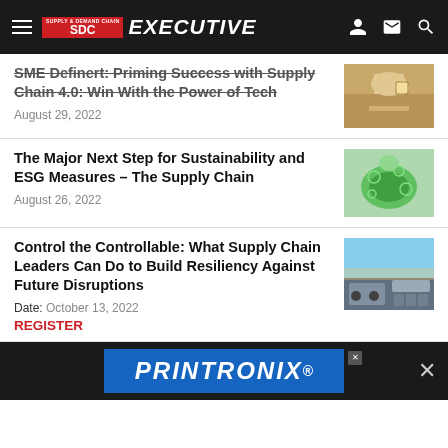Supply & Demand Chain Executive
SME Definert: Priming Success with Supply Chain 4.0: Win With the Power of Tech
August 29, 2022
The Major Next Step for Sustainability and ESG Measures – The Supply Chain
August 26, 2022
Control the Controllable: What Supply Chain Leaders Can Do to Build Resiliency Against Future Disruptions
Date: October 13, 2022
REGISTER
[Figure (screenshot): PRINTRONIX advertisement banner]